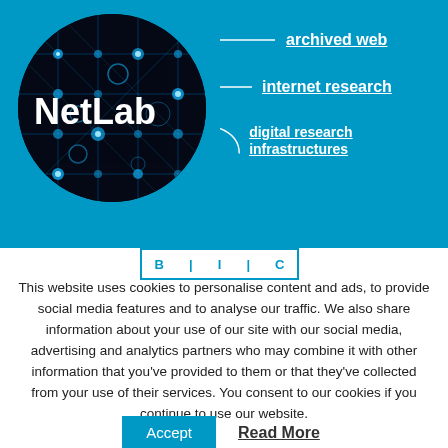[Figure (logo): NetLab logo: circular network graph with interconnected nodes on black background, with 'NetLab' text overlay, on blue background. Labels pointing right: 'archived web', 'internet research', 'digital research infrastructures']
This website uses cookies to personalise content and ads, to provide social media features and to analyse our traffic. We also share information about your use of our site with our social media, advertising and analytics partners who may combine it with other information that you've provided to them or that they've collected from your use of their services. You consent to our cookies if you continue to use our website.
Accept   Read More